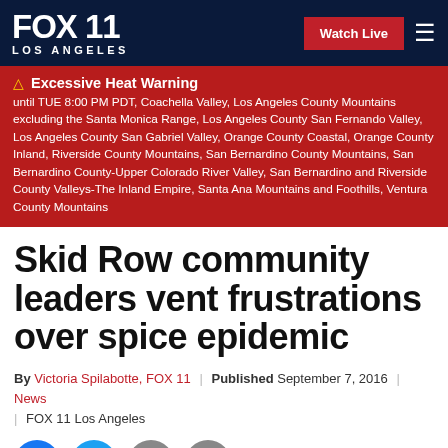FOX 11 LOS ANGELES | Watch Live
Excessive Heat Warning until TUE 8:00 PM PDT, Coachella Valley, Los Angeles County Mountains excluding the Santa Monica Range, Los Angeles County San Fernando Valley, Los Angeles County San Gabriel Valley, Orange County Coastal, Orange County Inland, Riverside County Mountains, San Bernardino County Mountains, San Bernardino County-Upper Colorado River Valley, San Bernardino and Riverside County Valleys-The Inland Empire, Santa Ana Mountains and Foothills, Ventura County Mountains
Skid Row community leaders vent frustrations over spice epidemic
By Victoria Spilabotte, FOX 11 | Published September 7, 2016 | News | FOX 11 Los Angeles